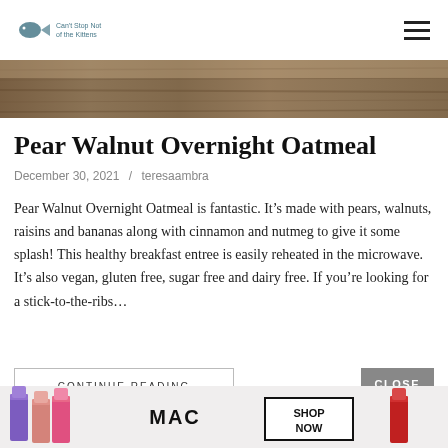Can't Stop Not of the Kittens
[Figure (photo): Close-up photo of a wooden surface, partially cropped at top of page]
Pear Walnut Overnight Oatmeal
December 30, 2021 / teresaambra
Pear Walnut Overnight Oatmeal is fantastic. It's made with pears, walnuts, raisins and bananas along with cinnamon and nutmeg to give it some splash! This healthy breakfast entree is easily reheated in the microwave. It's also vegan, gluten free, sugar free and dairy free. If you're looking for a stick-to-the-ribs...
CONTINUE READING
CLOSE
[Figure (photo): MAC cosmetics advertisement banner showing lipsticks with SHOP NOW button]